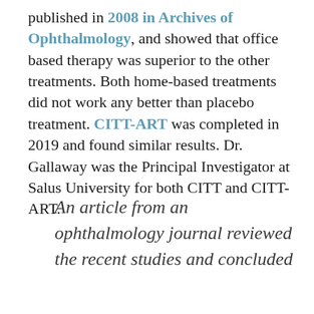published in 2008 in Archives of Ophthalmology, and showed that office based therapy was superior to the other treatments. Both home-based treatments did not work any better than placebo treatment. CITT-ART was completed in 2019 and found similar results. Dr. Gallaway was the Principal Investigator at Salus University for both CITT and CITT-ART.
An article from an ophthalmology journal reviewed the recent studies and concluded